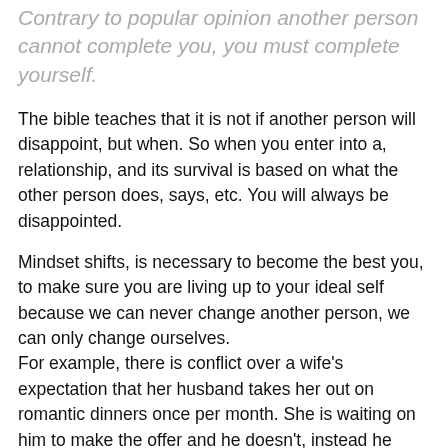Contrary to popular opinion another person cannot complete you, you must complete yourself.
The bible teaches that it is not if another person will disappoint, but when. So when you enter into a, relationship, and its survival is based on what the other person does, says, etc. You will always be disappointed.
Mindset shifts,  is necessary to become the best you, to make sure you are living up to your ideal self because we can never change another person, we can only change ourselves.
For example, there is conflict over a wife's expectation that her husband takes her out on romantic dinners once per month. She is waiting on him to make the offer and he doesn't, instead he goes out with his friends and leaves her at home with the kids.